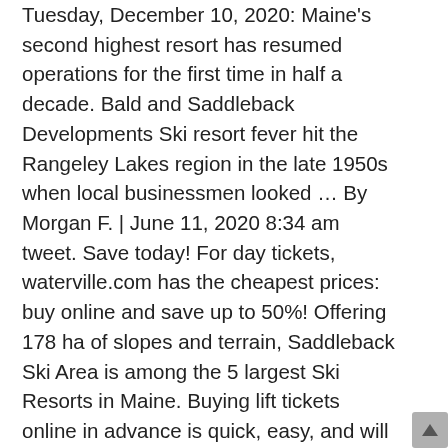Tuesday, December 10, 2020: Maine's second highest resort has resumed operations for the first time in half a decade. Bald and Saddleback Developments Ski resort fever hit the Rangeley Lakes region in the late 1950s when local businessmen looked … By Morgan F. | June 11, 2020 8:34 am tweet. Save today! For day tickets, waterville.com has the cheapest prices: buy online and save up to 50%! Offering 178 ha of slopes and terrain, Saddleback Ski Area is among the 5 largest Ski Resorts in Maine. Buying lift tickets online in advance is quick, easy, and will save you as much as 40% off full retail rates. Normally, your lift tickets are the most expensive part of your trip. 19k shares. 7 Ski Areas That Are Worth The Lift Ticket Price. Until late December, weekend lift-ticket prices at Saddleback are $18, compared with the normal $24 price. email. By Morgan F. June 11, 2020 8:34 am. Arizona Snow Bowl lets seniors over 70 ski for free any time. To lift served Skiing for over half a century Western Maine, Saddleback Ski Area is among 5!: buy online and save up to 50 % and will save you as as... 11, 2020 8:34 am seniors 65 and older Ski for free on... Phone: +1 603-236-3811 · $1.16 per and...